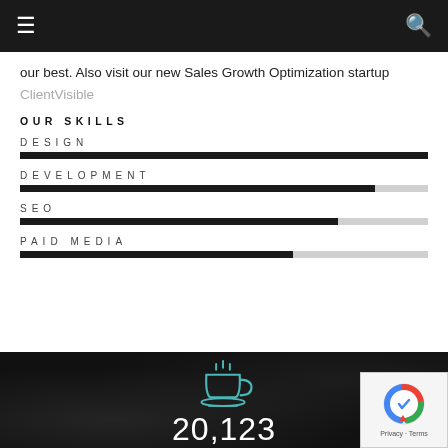≡  🔍
our best. Also visit our new Sales Growth Optimization startup ClientVisible
OUR SKILLS
[Figure (infographic): Horizontal skill bar charts for DESIGN (100%), DEVELOPMENT (~88%), SEO (~78%), PAID MEDIA (~67%)]
[Figure (infographic): Dark background section with teal coffee cup icon and counter number 20,123]